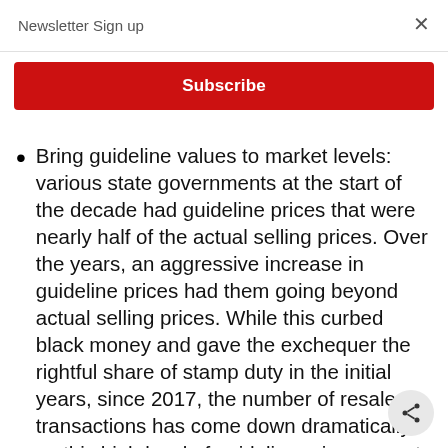Newsletter Sign up
Subscribe
Bring guideline values to market levels: various state governments at the start of the decade had guideline prices that were nearly half of the actual selling prices. Over the years, an aggressive increase in guideline prices had them going beyond actual selling prices. While this curbed black money and gave the exchequer the rightful share of stamp duty in the initial years, since 2017, the number of resale transactions has come down dramatically as this high level of guideline prices meant higher stamp duty. This, combined with a revision in the Income Tax Act